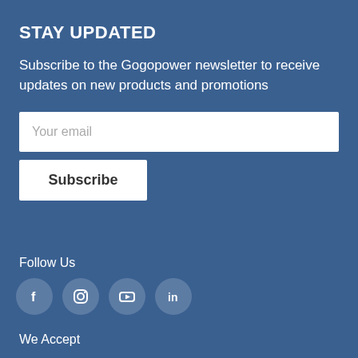STAY UPDATED
Subscribe to the Gogopower newsletter to receive updates on new products and promotions
Your email
Subscribe
Follow Us
[Figure (infographic): Social media icons in circles: Facebook, Instagram, YouTube, LinkedIn]
We Accept